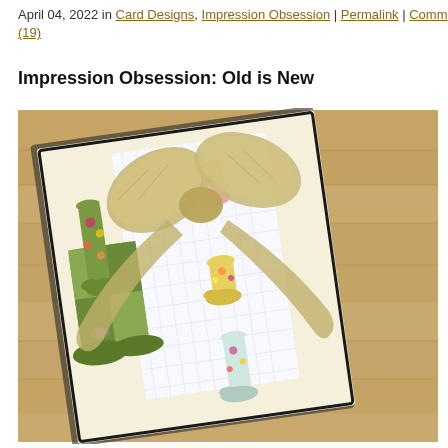April 04, 2022 in Card Designs, Impression Obsession | Permalink | Comm (19)
Impression Obsession: Old is New
[Figure (photo): A flat-lay photo of a box containing greeting cards featuring garden boots/wellies decorated with flowers in various colors (green checkered, yellow, pink, white), wrapped with a burlap/natural ribbon bow, placed on a wood plank background.]